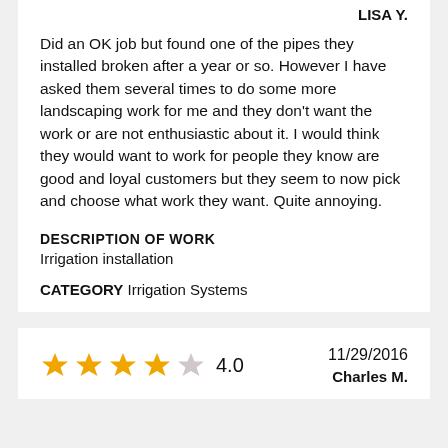LISA Y.
Did an OK job but found one of the pipes they installed broken after a year or so. However I have asked them several times to do some more landscaping work for me and they don't want the work or are not enthusiastic about it. I would think they would want to work for people they know are good and loyal customers but they seem to now pick and choose what work they want. Quite annoying.
DESCRIPTION OF WORK
Irrigation installation
CATEGORY Irrigation Systems
[Figure (other): 4 out of 5 stars rating: 4 filled orange stars and 1 empty star, score 4.0]
4.0
11/29/2016
Charles M.